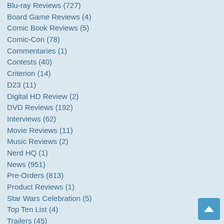Blu-ray Reviews (727)
Board Game Reviews (4)
Comic Book Reviews (5)
Comic-Con (78)
Commentaries (1)
Contests (40)
Criterion (14)
D23 (11)
Digital HD Review (2)
DVD Reviews (192)
Interviews (62)
Movie Reviews (11)
Music Reviews (2)
Nerd HQ (1)
News (951)
Pre-Orders (813)
Product Reviews (1)
Star Wars Celebration (5)
Top Ten List (4)
Trailers (45)
TV Shows (235)
Video (64)
Video Game Reviews (1)
Video Games (12)